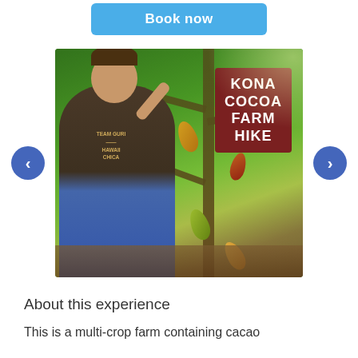[Figure (screenshot): Blue 'Book now' button at top of page]
[Figure (photo): A man in a brown t-shirt standing among cacao trees on a farm, reaching up to touch a cacao pod. The image has a dark red overlay box in the upper right with bold white text reading 'KONA COCOA FARM HIKE'. Left and right navigation arrow buttons in blue circles flank the image.]
About this experience
This is a multi-crop farm containing cacao